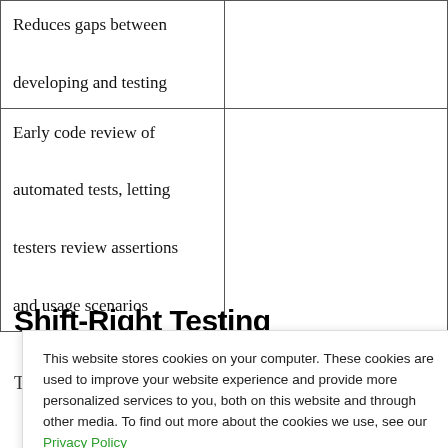|  |  |
| --- | --- |
| Reduces gaps between developing and testing |  |
| Early code review of automated tests, letting testers review assertions and usage scenarios |  |
Shift-Right Testing
The focus of Shift-Right Testing is to act...
This website stores cookies on your computer. These cookies are used to improve your website experience and provide more personalized services to you, both on this website and through other media. To find out more about the cookies we use, see our Privacy Policy